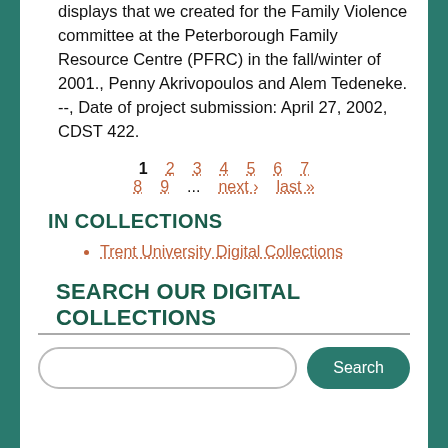displays that we created for the Family Violence committee at the Peterborough Family Resource Centre (PFRC) in the fall/winter of 2001., Penny Akrivopoulos and Alem Tedeneke. --, Date of project submission: April 27, 2002, CDST 422.
Pagination: 1 2 3 4 5 6 7 8 9 ... next › last »
IN COLLECTIONS
Trent University Digital Collections
SEARCH OUR DIGITAL COLLECTIONS
Search input and button